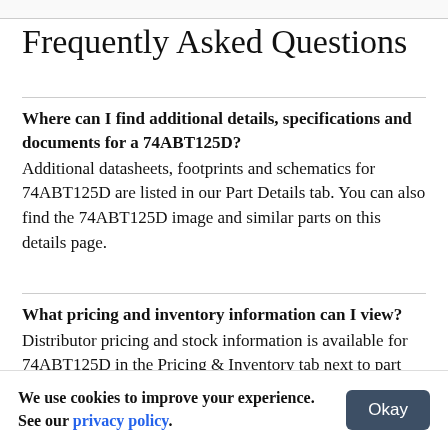Frequently Asked Questions
Where can I find additional details, specifications and documents for a 74ABT125D?
Additional datasheets, footprints and schematics for 74ABT125D are listed in our Part Details tab. You can also find the 74ABT125D image and similar parts on this details page.
What pricing and inventory information can I view?
Distributor pricing and stock information is available for 74ABT125D in the Pricing & Inventory tab next to part
We use cookies to improve your experience. See our privacy policy.